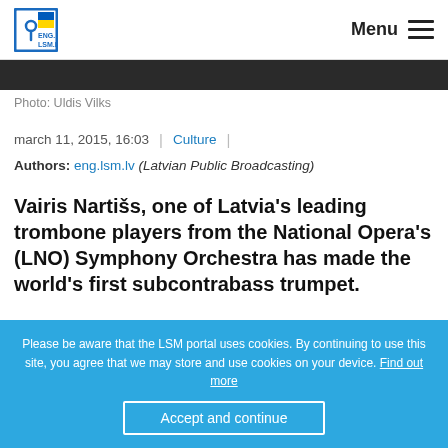ENG.LSM.lv | Menu
[Figure (photo): Dark image strip at top, partial photo behind nav]
Photo: Uldis Vilks
march 11, 2015, 16:03 | Culture |
Authors: eng.lsm.lv (Latvian Public Broadcasting)
Vairis Nartišs, one of Latvia's leading trombone players from the National Opera's (LNO) Symphony Orchestra has made the world's first subcontrabass trumpet.
Please be aware that the LSM portal uses cookies. By continuing to use this site, you agree that we may store and use cookies on your device. Find out more
Accept and continue